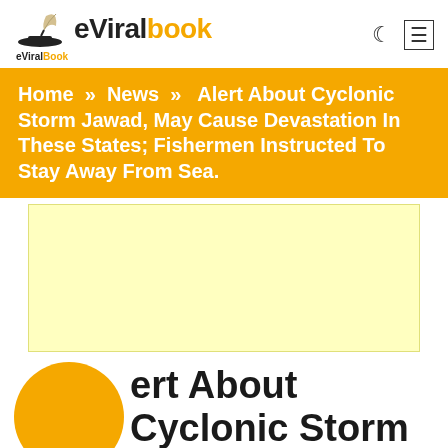eViralbook
Home » News » Alert About Cyclonic Storm Jawad, May Cause Devastation In These States; Fishermen Instructed To Stay Away From Sea.
[Figure (other): Light yellow advertisement placeholder area]
Alert About Cyclonic Storm Jawad, May Cause